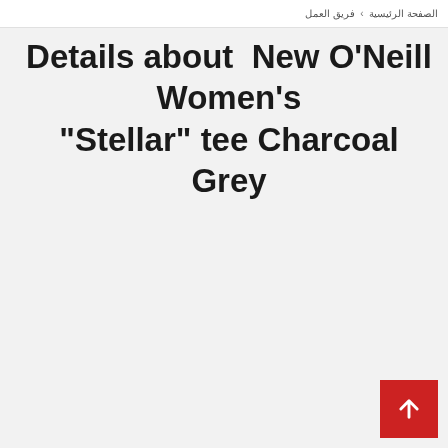الصفحة الرئيسية > فريق العمل
Details about  New O'Neill Women's "Stellar" tee Charcoal Grey